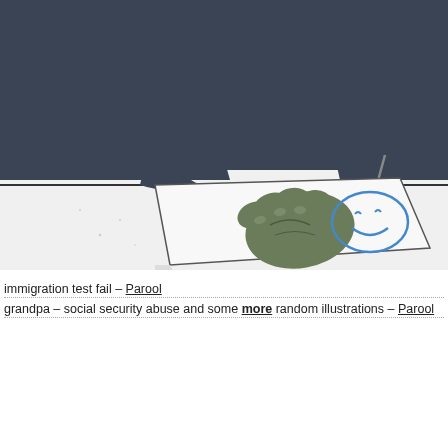[Figure (illustration): Illustration of a person in a dark jacket sitting at a table, with a gloved green hand pressing down on a piece of paper that has a simple smiley face drawn in blue ink. A pen or pencil is visible on the table.]
immigration test fail – Parool
grandpa – social security abuse and some more random illustrations – Parool